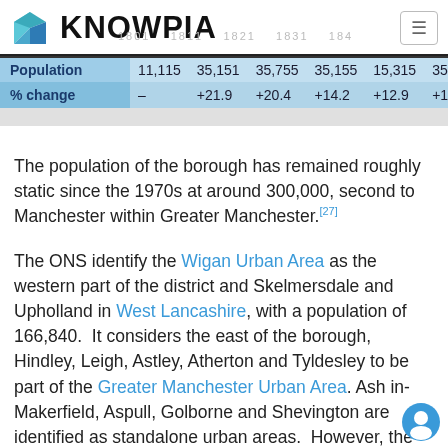KNOWPIA
|  | 1801 | 1811 | 1821 | 1831 | 184... |
| --- | --- | --- | --- | --- | --- |
| Population | 11,115 | 35,151 | 35,755 | 35,155 | 15,315 | 35,... |
| % change | – | +21.9 | +20.4 | +14.2 | +12.9 | +19... |
The population of the borough has remained roughly static since the 1970s at around 300,000, second to Manchester within Greater Manchester.[27]
The ONS identify the Wigan Urban Area as the western part of the district and Skelmersdale and Upholland in West Lancashire, with a population of 166,840. It considers the east of the borough, Hindley, Leigh, Astley, Atherton and Tyldesley to be part of the Greater Manchester Urban Area. Ash in-Makerfield, Aspull, Golborne and Shevington are identified as standalone urban areas. However, the